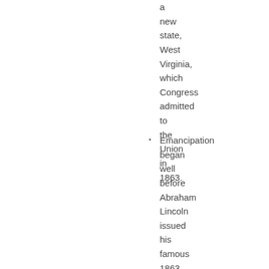a new state, West Virginia, which Congress admitted to the Union in 1863.
Emancipation began well before Abraham Lincoln issued his famous 1863 proclamation. Many border state slaves took